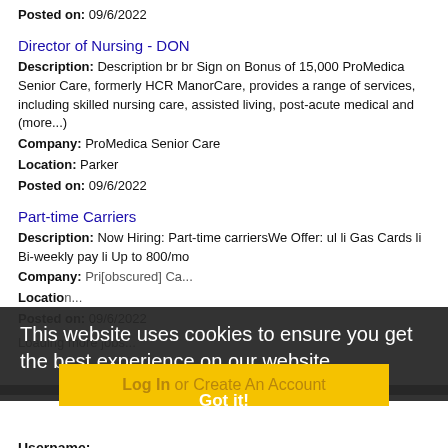Location: Parker
Posted on: 09/6/2022
Director of Nursing - DON
Description: Description br br Sign on Bonus of 15,000 ProMedica Senior Care, formerly HCR ManorCare, provides a range of services, including skilled nursing care, assisted living, post-acute medical and (more...)
Company: ProMedica Senior Care
Location: Parker
Posted on: 09/6/2022
Part-time Carriers
Description: Now Hiring: Part-time carriersWe Offer: ul li Gas Cards li Bi-weekly pay li Up to 800/mo
Company: [obscured]
Location: [obscured]
Posted on: 09/6/2022
Loading more jobs...
This website uses cookies to ensure you get the best experience on our website.
Learn more
Got it!
Log In or Create An Account
Username: